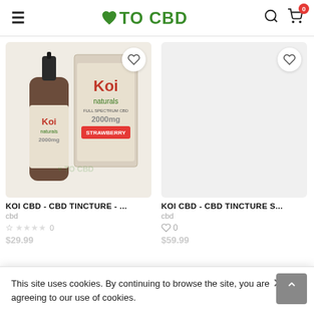≡ ♥ TO CBD 🔍 🛒 0
[Figure (photo): Koi Naturals CBD tincture bottle (dropper bottle) with product box, strawberry flavor 2000mg, full spectrum CBD]
KOI CBD - CBD TINCTURE - ...
cbd
★ ☆☆☆☆  0
$29.99
KOI CBD - CBD TINCTURE S...
cbd
♡ 0
$59.99
This site uses cookies. By continuing to browse the site, you are agreeing to our use of cookies.